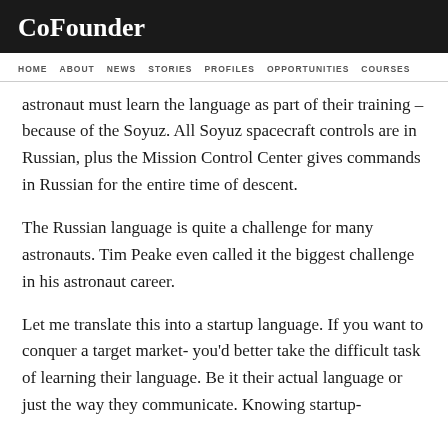CoFounder
HOME  ABOUT  NEWS  STORIES  PROFILES  OPPORTUNITIES  COURSES
astronaut must learn the language as part of their training – because of the Soyuz. All Soyuz spacecraft controls are in Russian, plus the Mission Control Center gives commands in Russian for the entire time of descent.
The Russian language is quite a challenge for many astronauts. Tim Peake even called it the biggest challenge in his astronaut career.
Let me translate this into a startup language. If you want to conquer a target market- you'd better take the difficult task of learning their language. Be it their actual language or just the way they communicate. Knowing startup-